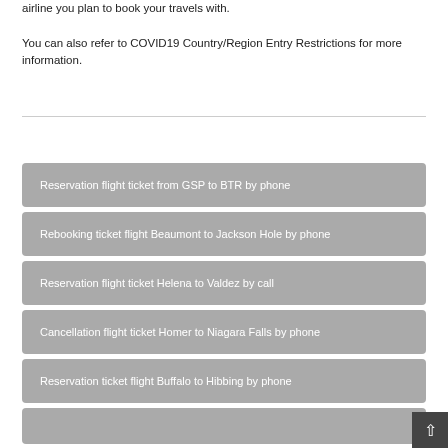airline you plan to book your travels with.
You can also refer to COVID19 Country/Region Entry Restrictions for more information.
Reservation flight ticket from GSP to BTR by phone
Rebooking ticket flight Beaumont to Jackson Hole by phone
Reservation flight ticket Helena to Valdez by call
Cancellation flight ticket Homer to Niagara Falls by phone
Reservation ticket flight Buffalo to Hibbing by phone